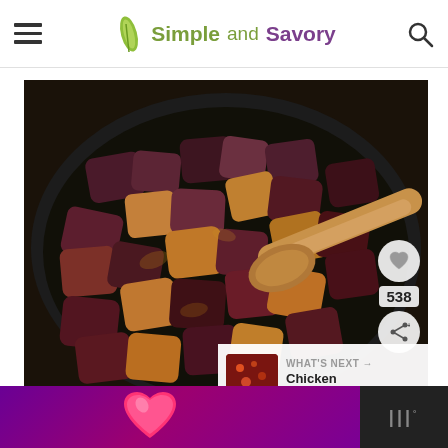Simple and Savory
[Figure (photo): Cubed cooked eggplant pieces in a black cast iron skillet with a wooden spoon, viewed from above. Social share overlay shows heart icon and count 538, plus a share button.]
WHAT'S NEXT → Chicken Picadillo...
[Figure (photo): Advertisement banner at bottom: purple/pink gradient background with pink heart icon on left side, and dark right side with stylized logo mark.]